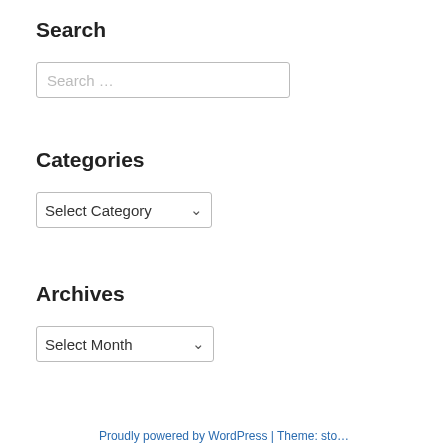Search
[Figure (screenshot): Search input text box with placeholder text 'Search …']
Categories
[Figure (screenshot): Dropdown select box labeled 'Select Category' with dropdown arrow]
Archives
[Figure (screenshot): Dropdown select box labeled 'Select Month' with dropdown arrow]
Proudly powered by WordPress | Theme: sto…